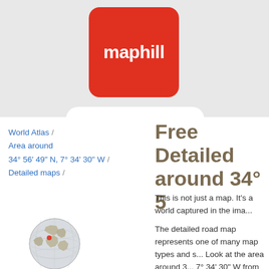[Figure (logo): Maphill red rounded square logo with white text 'maphill']
World Atlas / Area around 34° 56' 49" N, 7° 34' 30" W / Detailed maps /
Free Detailed maps around 34° 5...
This is not just a map. It's a world captured in the ima...
The detailed road map represents one of many map types and styles. Look at the area around 34° ... 7° 34' 30" W from different perspectives.
Get free map for your we... the beauty hidden in the m... the int...
[Figure (illustration): Small globe illustration showing world map with a red marker dot]